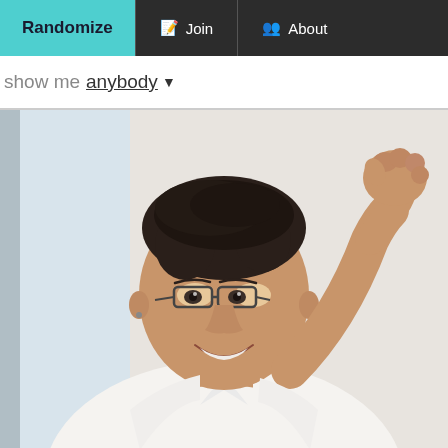Randomize | Join | About
show me anybody ▼
[Figure (photo): A smiling person with short dark hair and glasses, wearing a white shirt, raising their right hand near their forehead. Background appears to be near a window with soft light.]